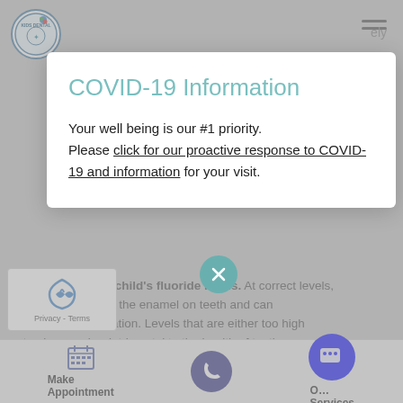[Figure (screenshot): Kids Dental logo circle top left]
[Figure (other): Hamburger menu icon top right]
COVID-19 Information
Your well being is our #1 priority. Please click for our proactive response to COVID-19 and information for your visit.
9. Determine your child's fluoride levels. At correct levels, fluoride strengthens the enamel on teeth and can prevent cavity formation. Levels that are either too high or too low can be detrimental to the health of teeth. A pediatric dentist can assess your child's fluoride levels and provide appropriate advice for maintaining those levels.
[Figure (logo): reCAPTCHA Privacy-Terms widget]
Make Appointment | [phone icon] | Our Services